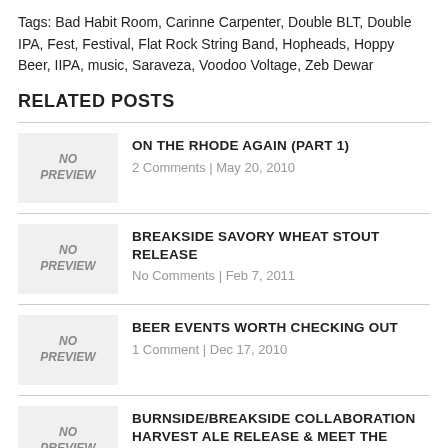Tags: Bad Habit Room, Carinne Carpenter, Double BLT, Double IPA, Fest, Festival, Flat Rock String Band, Hopheads, Hoppy Beer, IIPA, music, Saraveza, Voodoo Voltage, Zeb Dewar
RELATED POSTS
ON THE RHODE AGAIN (PART 1) | 2 Comments | May 20, 2010
BREAKSIDE SAVORY WHEAT STOUT RELEASE | No Comments | Feb 7, 2011
BEER EVENTS WORTH CHECKING OUT | 1 Comment | Dec 17, 2010
BURNSIDE/BREAKSIDE COLLABORATION HARVEST ALE RELEASE & MEET THE BREWERS @ SPINTS ALEHOUSE